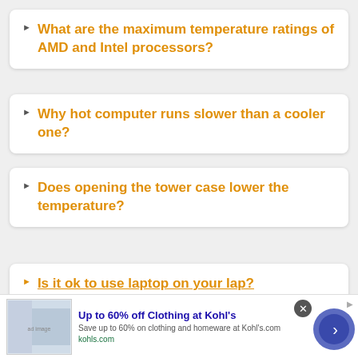What are the maximum temperature ratings of AMD and Intel processors?
Why hot computer runs slower than a cooler one?
Does opening the tower case lower the temperature?
Is it ok to use laptop on your lap?
[Figure (screenshot): Advertisement banner: Up to 60% off Clothing at Kohl's with image of people and a navigation button]